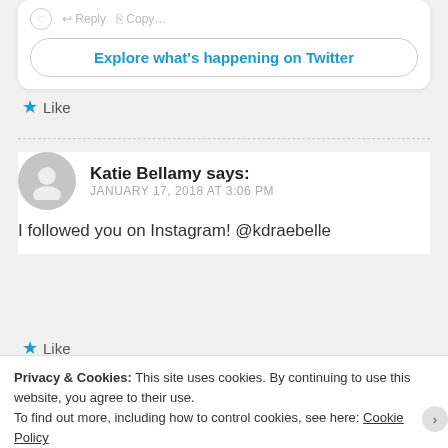[Figure (screenshot): Twitter embedded widget with 'Explore what's happening on Twitter' button and faint social action icons above it]
★ Like
Katie Bellamy says: JANUARY 17, 2018 AT 3:06 PM
I followed you on Instagram! @kdraebelle
★ Like
Privacy & Cookies: This site uses cookies. By continuing to use this website, you agree to their use. To find out more, including how to control cookies, see here: Cookie Policy
Close and accept